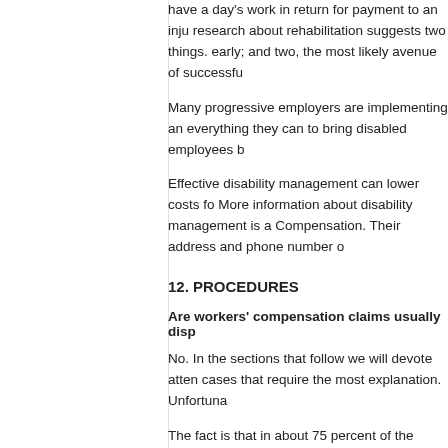have a day's work in return for payment to an inju... research about rehabilitation suggests two things. early; and two, the most likely avenue of successfu...
Many progressive employers are implementing an... everything they can to bring disabled employees b...
Effective disability management can lower costs fo... More information about disability management is a... Compensation. Their address and phone number o...
12. PROCEDURES
Are workers' compensation claims usually disp...
No. In the sections that follow we will devote atten... cases that require the most explanation. Unfortuna...
The fact is that in about 75 percent of the cases, th... with an outline of what happens in the ordinary cas... situations.
What happens in the ordinary case?
In the ordinary case, the worker immediately repor...